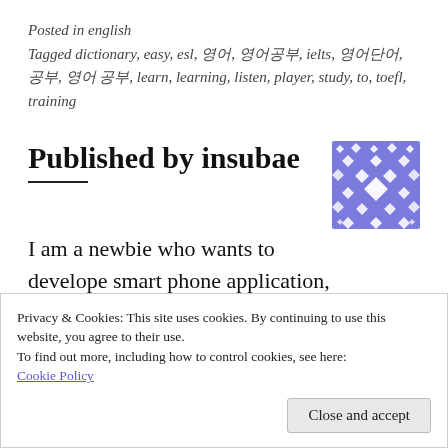Posted in english
Tagged dictionary, easy, esl, 영어, 영어공부, ielts, 영어단어, 공부, 영어 공부, learn, learning, listen, player, study, to, toefl, training
Published by insubae
[Figure (illustration): A blue/purple decorative square avatar with diamond and geometric pattern]
I am a newbie who wants to develope smart phone application, especially I
Privacy & Cookies: This site uses cookies. By continuing to use this website, you agree to their use.
To find out more, including how to control cookies, see here:
Cookie Policy
Close and accept